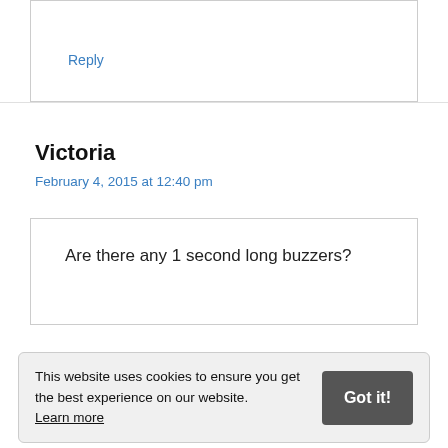Reply
Victoria
February 4, 2015 at 12:40 pm
Are there any 1 second long buzzers?
This website uses cookies to ensure you get the best experience on our website. Learn more